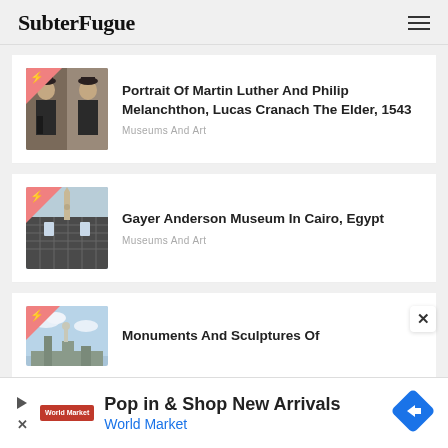SubterFugue
Portrait Of Martin Luther And Philip Melanchthon, Lucas Cranach The Elder, 1543
Museums And Art
Gayer Anderson Museum In Cairo, Egypt
Museums And Art
Monuments And Sculptures Of
[Figure (screenshot): Advertisement banner: Pop in & Shop New Arrivals, World Market]